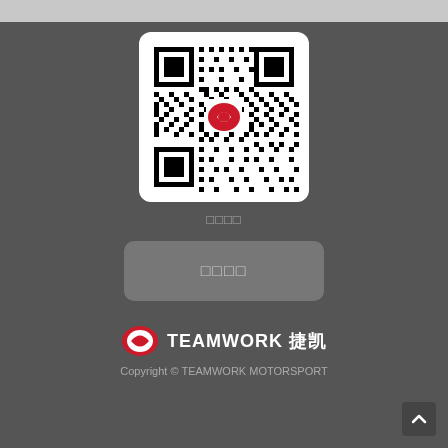[Figure (other): QR code with Teamwork Motorsport logo in the center, white background with rounded corners]
□□□□
□□□□
[Figure (logo): Teamwork Motorsport logo: red oval with white T emblem, followed by text TEAMWORK 捷凯]
Copyright © TEAMWORK MOTORSPORT